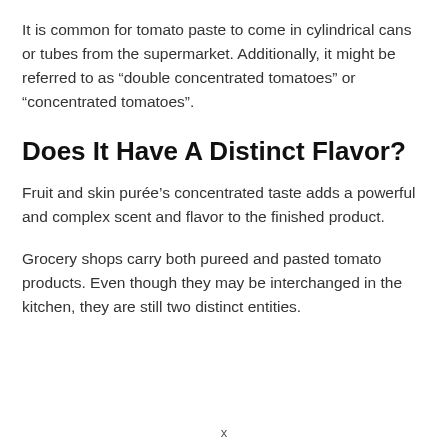It is common for tomato paste to come in cylindrical cans or tubes from the supermarket. Additionally, it might be referred to as “double concentrated tomatoes” or “concentrated tomatoes”.
Does It Have A Distinct Flavor?
Fruit and skin purée’s concentrated taste adds a powerful and complex scent and flavor to the finished product.
Grocery shops carry both pureed and pasted tomato products. Even though they may be interchanged in the kitchen, they are still two distinct entities.
x